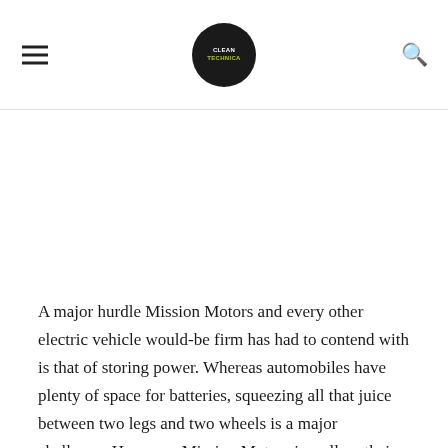CleanTechnica (logo with hamburger menu and search icon)
A major hurdle Mission Motors and every other electric vehicle would-be firm has had to contend with is that of storing power. Whereas automobiles have plenty of space for batteries, squeezing all that juice between two legs and two wheels is a major challenge. However, Mission Motors is well on their way to solving the juice